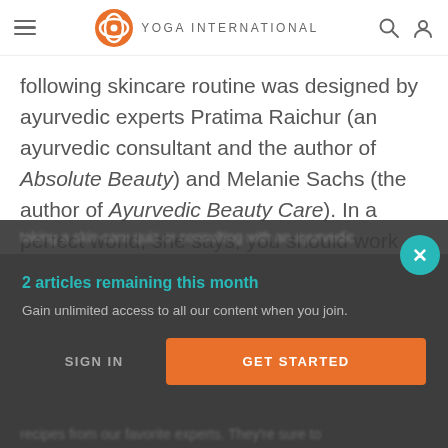Yoga International
following skincare routine was designed by ayurvedic experts Pratima Raichur (an ayurvedic consultant and the author of Absolute Beauty) and Melanie Sachs (the author of Ayurvedic Beauty Care). In a perfect world, she says, you should work with an ayurvedic beauty professional who can custom-tailor a program to your specific needs (or, at the very least, try
2 articles remaining this month
Gain unlimited access to all our content when you join.
SIGN IN
GET STARTED